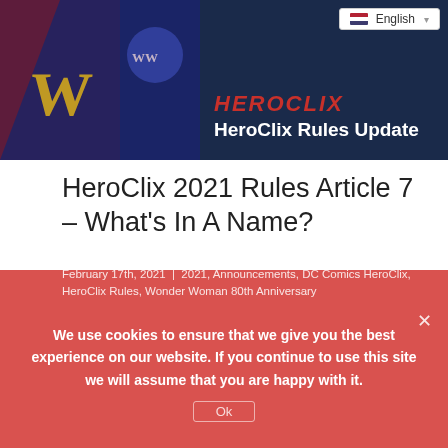[Figure (illustration): HeroClix Rules Update banner with Wonder Woman comic art on left and HeroClix logo and 'HeroClix Rules Update' text on right against dark blue background. Language selector showing English in top right.]
HeroClix 2021 Rules Article 7 – What's In A Name?
For some of the game terms in HeroClix, the primary change is how they're communicated – the gameplay will mostly be the same. We've previously heard that simpler and more concise language for some of HeroClix's concepts was desired by members of the community. This has been reinforced by many of the questions and [...]
February 17th, 2021 | 2021, Announcements, DC Comics HeroClix, HeroClix Rules, Wonder Woman 80th Anniversary
Read More >
We use cookies to ensure that we give you the best experience on our website. If you continue to use this site we will assume that you are happy with it.
Ok